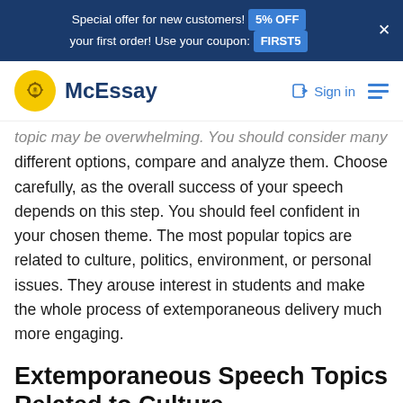Special offer for new customers! 5% OFF your first order! Use your coupon: FIRST5
[Figure (logo): McEssay logo with yellow lightbulb icon and dark blue text]
topic may be overwhelming. You should consider many different options, compare and analyze them. Choose carefully, as the overall success of your speech depends on this step. You should feel confident in your chosen theme. The most popular topics are related to culture, politics, environment, or personal issues. They arouse interest in students and make the whole process of extemporaneous delivery much more engaging.
Extemporaneous Speech Topics Related to Culture